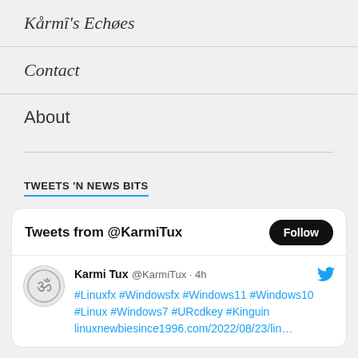Kårmî's Echøes
Contact
About
TWEETS 'N NEWS BITS
Tweets from @KarmiTux
Karmi Tux @KarmiTux · 4h
#Linuxfx #Windowsfx #Windows11 #Windows10 #Linux #Windows7 #URcdkey #Kinguin linuxnewbiesince1996.com/2022/08/23/lin…